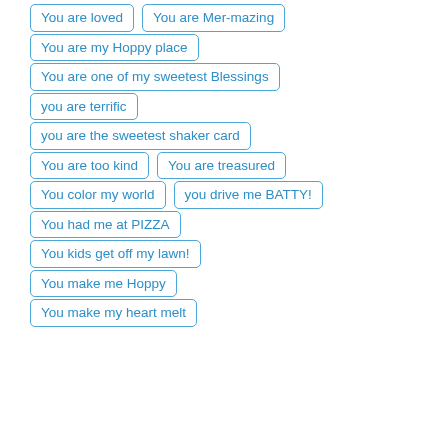You are loved
You are Mer-mazing
You are my Hoppy place
You are one of my sweetest Blessings
you are terrific
you are the sweetest shaker card
You are too kind
You are treasured
You color my world
you drive me BATTY!
You had me at PIZZA
You kids get off my lawn!
You make me Hoppy
You make my heart melt